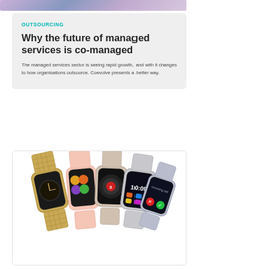[Figure (photo): Top banner image showing a cityscape or abstract background in purple/blue tones]
OUTSOURCING
Why the future of managed services is co-managed
The managed services sector is seeing rapid growth, and with it changes to how organisations outsource. Coevolve presents a better way.
[Figure (photo): Multiple smartwatches displayed in a fan arrangement showing various watch faces and bands including gold mesh, pink, silver, and a device displaying a phone call screen]